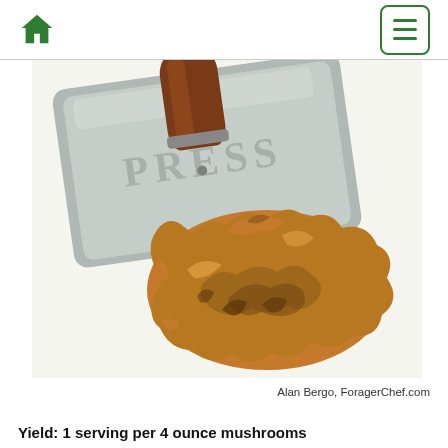Home | Menu
[Figure (photo): A mushroom being pressed with a metal sandwich press stamped with the word PRESS, with a wooden handle, on a white background. A large golden-brown cooked chanterelle or hen-of-the-woods mushroom sits in front.]
Alan Bergo, ForagerChef.com
Yield: 1 serving per 4 ounce mushrooms